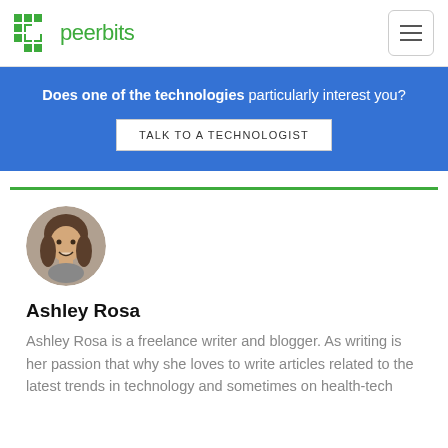[Figure (logo): Peerbits logo with green pixel-grid icon and green text 'peerbits']
Does one of the technologies particularly interest you?
TALK TO A TECHNOLOGIST
[Figure (photo): Circular headshot of Ashley Rosa, a woman with long brown hair, smiling]
Ashley Rosa
Ashley Rosa is a freelance writer and blogger. As writing is her passion that why she loves to write articles related to the latest trends in technology and sometimes on health-tech